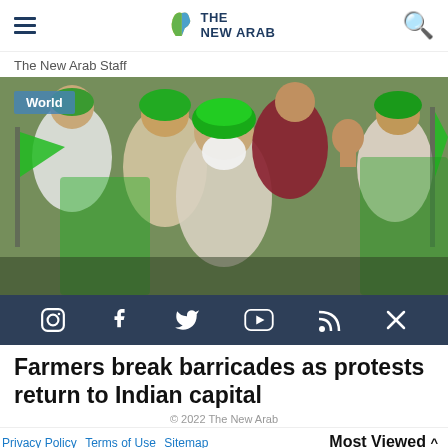The New Arab — navigation header with hamburger menu, logo, and search icon
The New Arab Staff
[Figure (photo): A crowd of protesters wearing green turbans and waving green flags during Indian farmers protest. A bearded elderly man in green turban is prominent in the center foreground. A 'World' badge overlay appears in the top-left corner of the image.]
[Figure (other): Social media icon bar with Instagram, Facebook, Twitter/X, YouTube, RSS, and X icons on dark navy background]
Farmers break barricades as protests return to Indian capital
© 2022 The New Arab
Privacy Policy  Terms of Use  Sitemap       Most Viewed ^